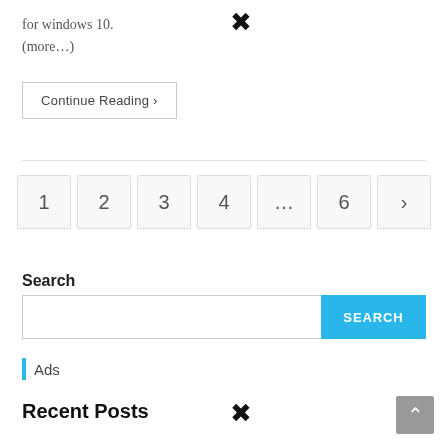for windows 10.
(more...)
Continue Reading ›
1  2  3  4  ...  6  ›
Search
SEARCH
Ads
Recent Posts